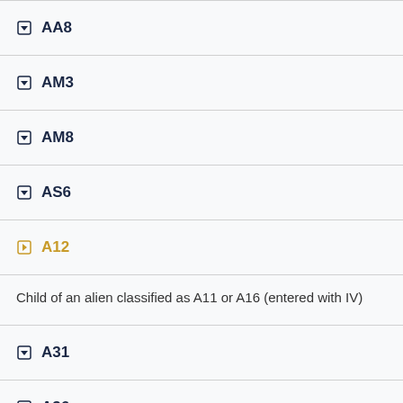AA8
AM3
AM8
AS6
A12
Child of an alien classified as A11 or A16 (entered with IV)
A31
A36
AA1
AA6